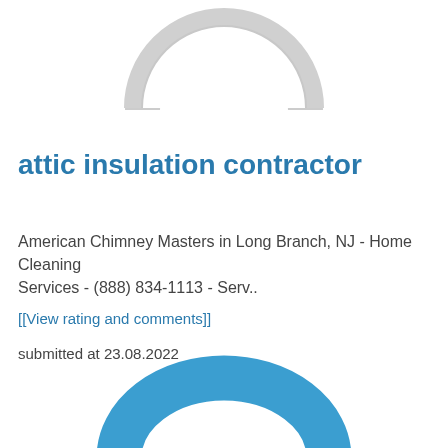[Figure (logo): Partial gray arc/horseshoe logo shape cropped at top of page]
attic insulation contractor
American Chimney Masters in Long Branch, NJ - Home Cleaning Services - (888) 834-1113 - Serv..
[[View rating and comments]]
submitted at 23.08.2022
[Figure (logo): Partial blue chain-link or oval loop logo shape cropped at bottom of page]